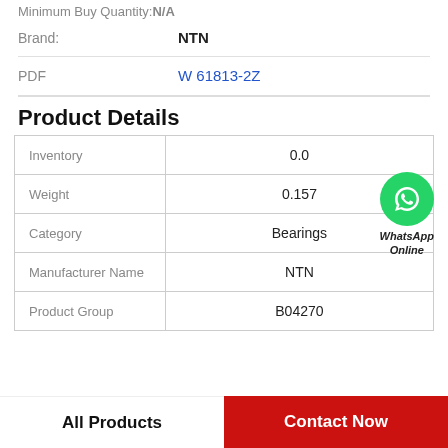Minimum Buy Quantity:N/A
|  |  |
| --- | --- |
| Brand: | NTN |
| PDF | W 61813-2Z |
Product Details
|  |  |
| --- | --- |
| Inventory | 0.0 |
| Weight | 0.157 |
| Category | Bearings |
| Manufacturer Name | NTN |
| Product Group | B04270 |
[Figure (logo): WhatsApp Online green phone icon with text WhatsApp Online]
All Products
Contact Now